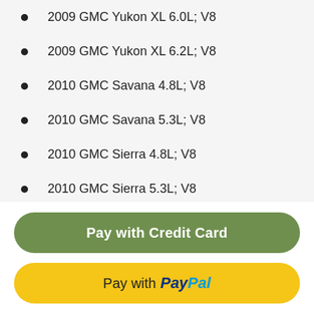2009 GMC Yukon XL 6.0L; V8
2009 GMC Yukon XL 6.2L; V8
2010 GMC Savana 4.8L; V8
2010 GMC Savana 5.3L; V8
2010 GMC Sierra 4.8L; V8
2010 GMC Sierra 5.3L; V8
2010 GMC Sierra 6.2L; V8
[Figure (other): Pay with Credit Card button (green rounded rectangle) and Pay with PayPal button (yellow rounded rectangle)]